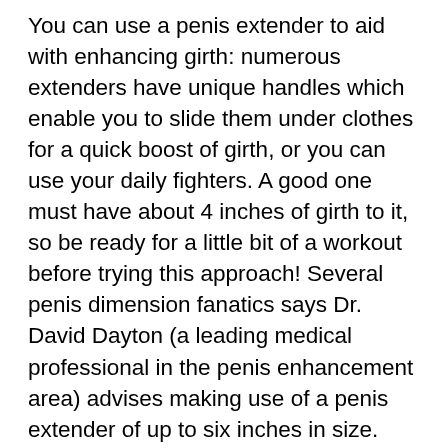You can use a penis extender to aid with enhancing girth: numerous extenders have unique handles which enable you to slide them under clothes for a quick boost of girth, or you can use your daily fighters. A good one must have about 4 inches of girth to it, so be ready for a little bit of a workout before trying this approach! Several penis dimension fanatics says Dr. David Dayton (a leading medical professional in the penis enhancement area) advises making use of a penis extender of up to six inches in size.
Following comes the penile sleeve, which is simply a piece of cloth or comparable material that twists around your entire penis, giving a buffer zone for girth as well as a tight wrap around the head to assist with